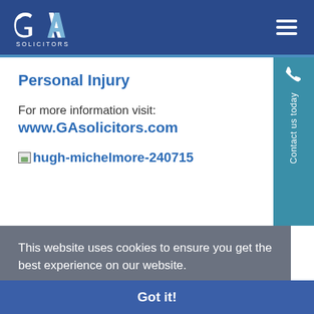[Figure (logo): GA Solicitors logo — white G and A letters with SOLICITORS text below, on dark blue header background]
Personal Injury
For more information visit:
www.GAsolicitors.com
[Figure (photo): Broken image placeholder with alt text: hugh-michelmore-240715]
This website uses cookies to ensure you get the best experience on our website.
Learn more
Got it!